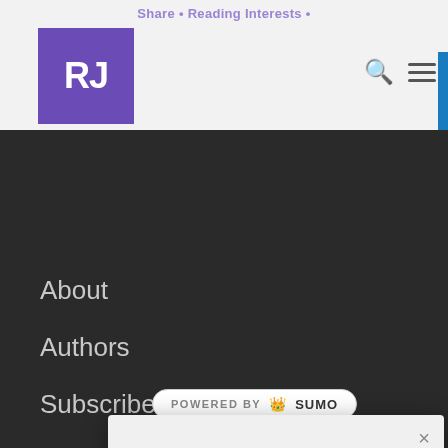Share • Reading Interests •
[Figure (logo): RJ logo — white letters RJ on purple square background]
About
Authors
Subscribe
Contact Us
[Figure (logo): POWERED BY SUMO badge with crown icon]
Join Our Newsletter
Sign up today for free and be the first to get notified on new updates.
Enter your Email
Subscribe Now
Pri we To Po
Shares